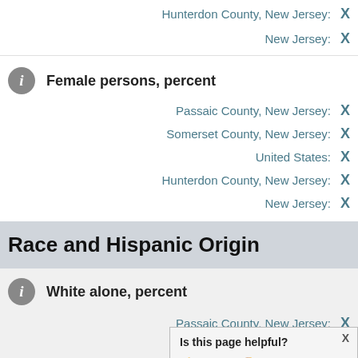Hunterdon County, New Jersey: X
New Jersey: X
Female persons, percent
Passaic County, New Jersey: X
Somerset County, New Jersey: X
United States: X
Hunterdon County, New Jersey: X
New Jersey: X
Race and Hispanic Origin
White alone, percent
Passaic County, New Jersey: X
Somerset Cou...